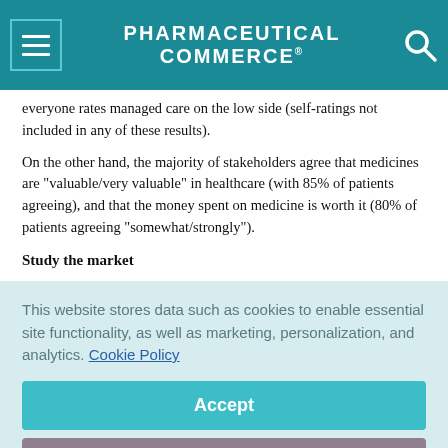PHARMACEUTICAL COMMERCE
everyone rates managed care on the low side (self-ratings not included in any of these results).
On the other hand, the majority of stakeholders agree that medicines are "valuable/very valuable" in healthcare (with 85% of patients agreeing), and that the money spent on medicine is worth it (80% of patients agreeing "somewhat/strongly").
Study the market
This website stores data such as cookies to enable essential site functionality, as well as marketing, personalization, and analytics. Cookie Policy
Accept
Deny